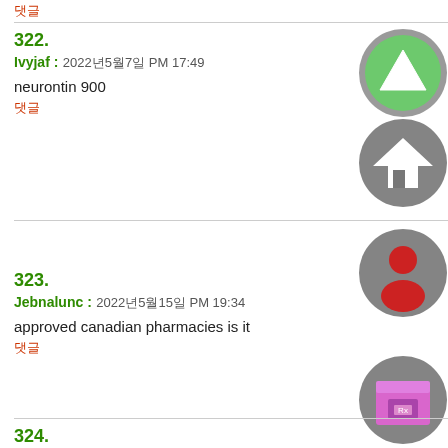댓글
322. Ivyjaf : 2022년5월7일 PM 17:49
neurontin 900
댓글
323. Jebnalunc : 2022년5월15일 PM 19:34
approved canadian pharmacies is it
댓글
324.